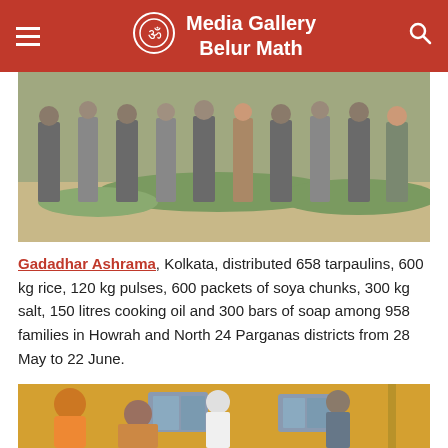Media Gallery Belur Math
[Figure (photo): People standing in a line outdoors on a sandy/grassy area, apparently waiting for relief distribution]
Gadadhar Ashrama, Kolkata, distributed 658 tarpaulins, 600 kg rice, 120 kg pulses, 600 packets of soya chunks, 300 kg salt, 150 litres cooking oil and 300 bars of soap among 958 families in Howrah and North 24 Parganas districts from 28 May to 22 June.
[Figure (photo): A monk in orange robes wearing a mask distributes relief materials to a woman outside a yellow building, with other people standing nearby]